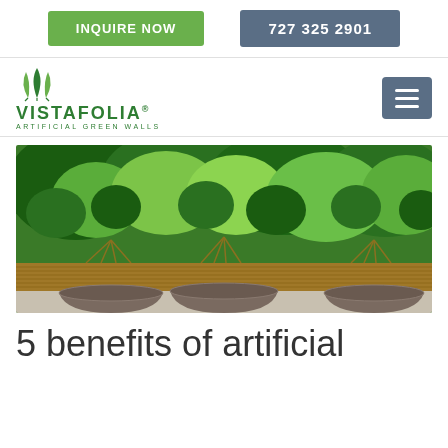INQUIRE NOW | 727 325 2901
[Figure (logo): Vistafolia Artificial Green Walls logo with green leaf icon]
[Figure (photo): Photo of a lush artificial green wall with various shades of green foliage, a wooden bench/planter box, and three large dark grey pot plants in front]
5 benefits of artificial